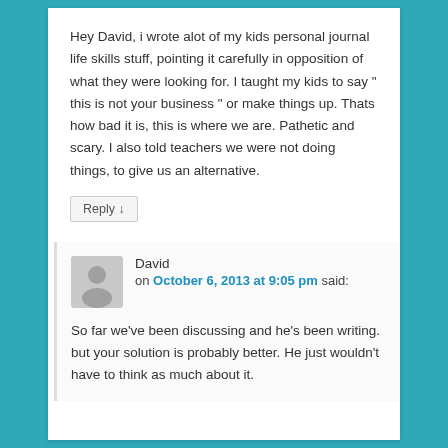Hey David, i wrote alot of my kids personal journal life skills stuff, pointing it carefully in opposition of what they were looking for. I taught my kids to say " this is not your business " or make things up. Thats how bad it is, this is where we are. Pathetic and scary. I also told teachers we were not doing things, to give us an alternative.
Reply ↓
David on October 6, 2013 at 9:05 pm said:
So far we've been discussing and he's been writing. but your solution is probably better. He just wouldn't have to think as much about it.